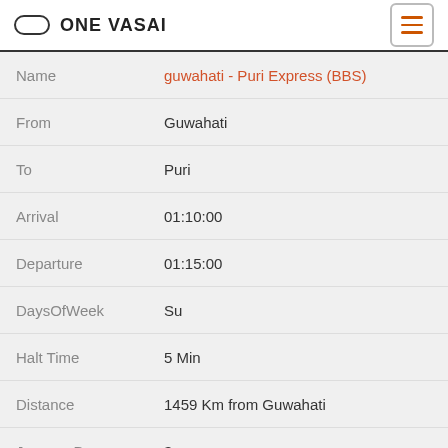ONE VASAI
| Field | Value |
| --- | --- |
| Name | guwahati - Puri Express (BBS) |
| From | Guwahati |
| To | Puri |
| Arrival | 01:10:00 |
| Departure | 01:15:00 |
| DaysOfWeek | Su |
| Halt Time | 5 Min |
| Distance | 1459 Km from Guwahati |
| Journey Day | 3 |
| No | 18420 |
| Name | darbhanga - Puri Express (BBS) |
| From | Jaynagar |